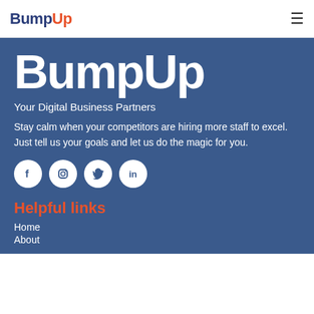BumpUp (logo) + hamburger menu
BumpUp
Your Digital Business Partners
Stay calm when your competitors are hiring more staff to excel. Just tell us your goals and let us do the magic for you.
[Figure (illustration): Four social media icon circles: Facebook, Instagram, Twitter, LinkedIn]
Helpful links
Home
About